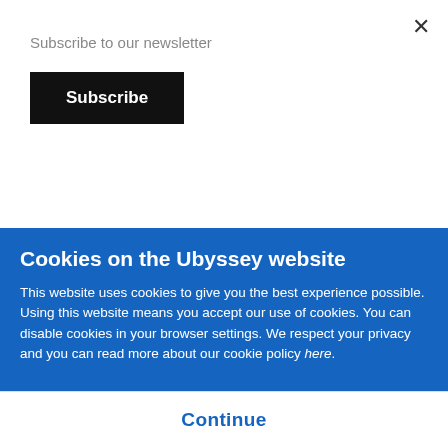Subscribe to our newsletter
Subscribe
bunched-up against the hard part (or palate) on the roof of your mouth. This shift, alongside certain vowel changes, made the two dialects easy to distinguish during dialogue.
“I wanted there to be… for the very dedicated fans…
Cookies on the Ubyssey website
This website uses cookies to give you the best experience possible. Using this website means you accept our use of cookies. You can disable cookies in your browser settings. We respect your privacy and you can read more about our cookie policy here.
Continue